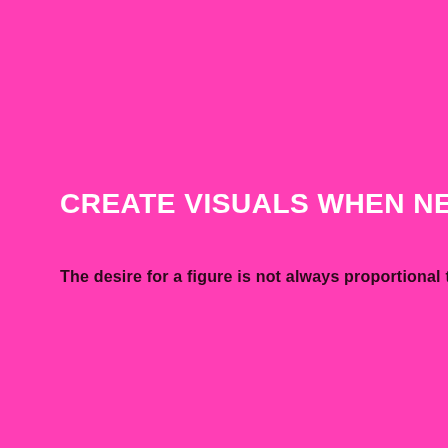CREATE VISUALS WHEN NECESS
The desire for a figure is not always proportional to it